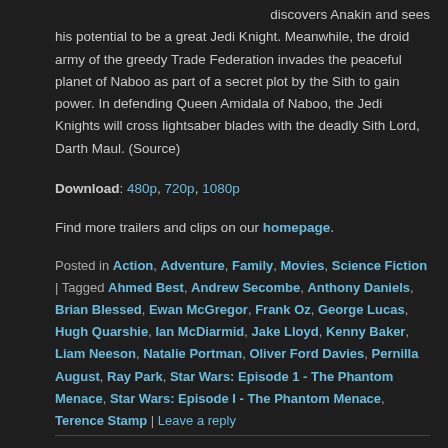discovers Anakin and sees his potential to be a great Jedi Knight. Meanwhile, the droid army of the greedy Trade Federation invades the peaceful planet of Naboo as part of a secret plot by the Sith to gain power. In defending Queen Amidala of Naboo, the Jedi Knights will cross lightsaber blades with the deadly Sith Lord, Darth Maul. (Source)
Download: 480p, 720p, 1080p
Find more trailers and clips on our homepage.
Posted in Action, Adventure, Family, Movies, Science Fiction | Tagged Ahmed Best, Andrew Secombe, Anthony Daniels, Brian Blessed, Ewan McGregor, Frank Oz, George Lucas, Hugh Quarshie, Ian McDiarmid, Jake Lloyd, Kenny Baker, Liam Neeson, Natalie Portman, Oliver Ford Davies, Pernilla August, Ray Park, Star Wars: Episode 1 - The Phantom Menace, Star Wars: Episode I - The Phantom Menace, Terence Stamp | Leave a reply